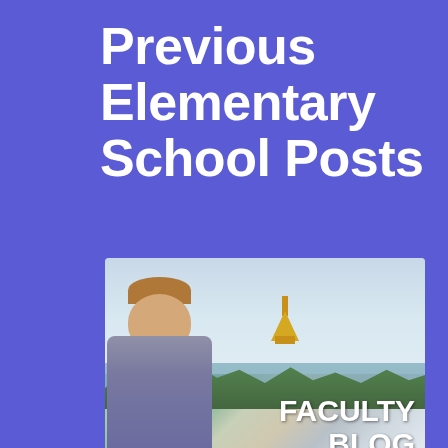Previous Elementary School Posts
[Figure (photo): A man in a plaid suit jacket smiling, photographed outdoors with a lake, green trees, and a golden pagoda visible in the background. Text overlay reads 'FACULTY BLOG'.]